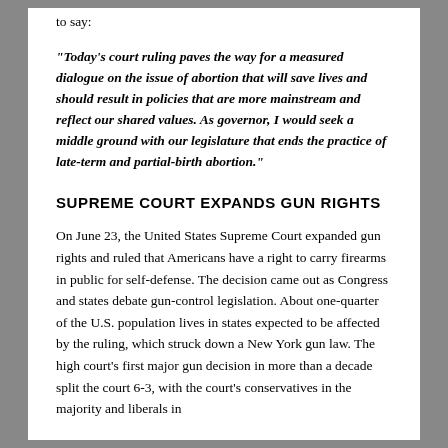to say:
“Today’s court ruling paves the way for a measured dialogue on the issue of abortion that will save lives and should result in policies that are more mainstream and reflect our shared values. As governor, I would seek a middle ground with our legislature that ends the practice of late-term and partial-birth abortion.”
SUPREME COURT EXPANDS GUN RIGHTS
On June 23, the United States Supreme Court expanded gun rights and ruled that Americans have a right to carry firearms in public for self-defense. The decision came out as Congress and states debate gun-control legislation. About one-quarter of the U.S. population lives in states expected to be affected by the ruling, which struck down a New York gun law. The high court’s first major gun decision in more than a decade split the court 6-3, with the court’s conservatives in the majority and liberals in